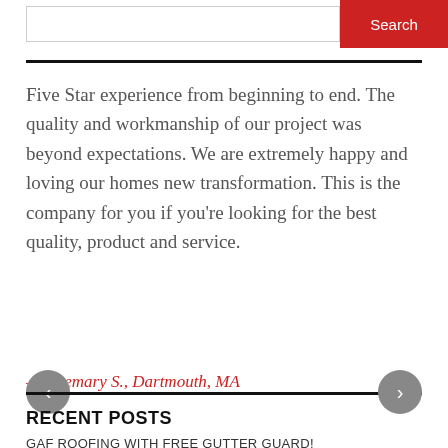[Figure (screenshot): Search bar with input field and red Search button]
Five Star experience from beginning to end. The quality and workmanship of our project was beyond expectations. We are extremely happy and loving our homes new transformation. This is the company for you if you're looking for the best quality, product and service.
– Rosemary S., Dartmouth, MA
RECENT POSTS
GAF ROOFING WITH FREE GUTTER GUARD!